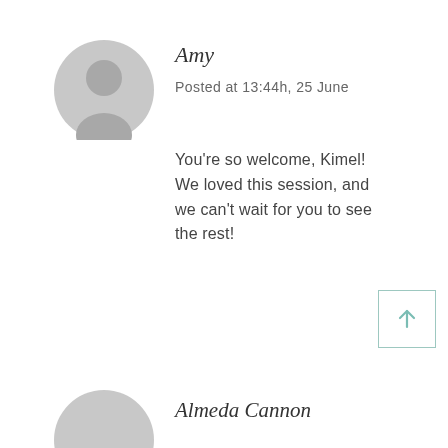[Figure (illustration): Generic user avatar circle with person silhouette, light gray]
Amy
Posted at 13:44h, 25 June
You're so welcome, Kimel! We loved this session, and we can't wait for you to see the rest!
[Figure (illustration): Generic user avatar circle with person silhouette, light gray, partially visible at bottom]
Almeda Cannon